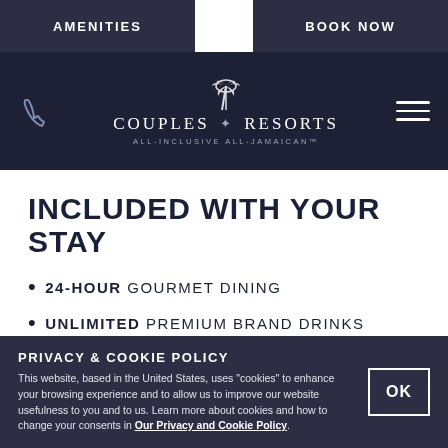AMENITIES | BOOK NOW
[Figure (logo): Couples Resorts logo with palm tree icon, navigation bar with phone icon and hamburger menu on dark navy background. Text: COUPLES RESORTS ALL-INCLUSIVE ALL-JAMAICAN™]
INCLUDED WITH YOUR STAY
24-HOUR GOURMET DINING
UNLIMITED PREMIUM BRAND DRINKS
CUSTOMIZED IN-ROOM MINI BAR
IN-ROOM DINING
PRIVACY & COOKIE POLICY
This website, based in the United States, uses "cookies" to enhance your browsing experience and to allow us to improve our website usefulness to you and to us. Learn more about cookies and how to change your consents in Our Privacy and Cookie Policy.